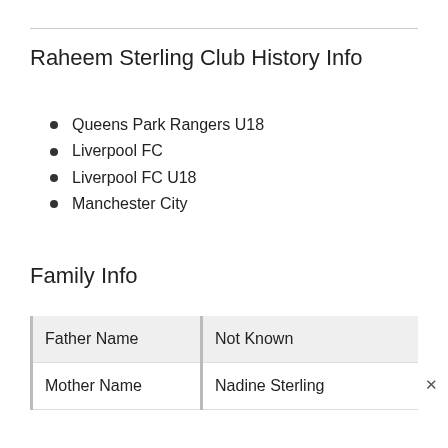Raheem Sterling Club History Info
Queens Park Rangers U18
Liverpool FC
Liverpool FC U18
Manchester City
Family Info
| Father Name | Not Known |
| --- | --- |
| Mother Name | Nadine Sterling |